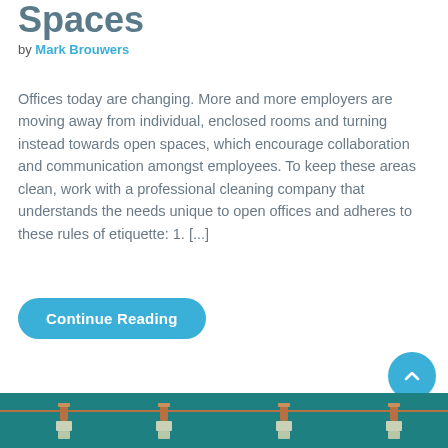Spaces
by Mark Brouwers
Offices today are changing. More and more employers are moving away from individual, enclosed rooms and turning instead towards open spaces, which encourage collaboration and communication amongst employees. To keep these areas clean, work with a professional cleaning company that understands the needs unique to open offices and adheres to these rules of etiquette: 1. [...]
Continue Reading
[Figure (photo): Photo of clothespins clipped to a string with money/paper notes hanging below them, against a teal/blue-green background.]